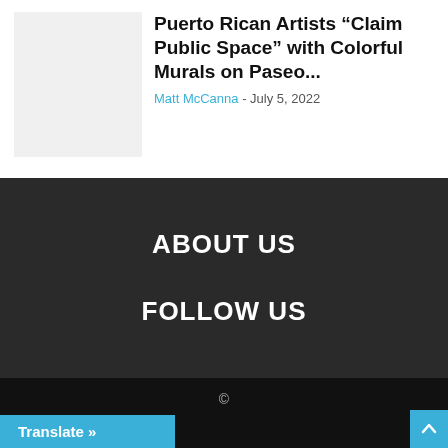[Figure (photo): Thumbnail placeholder image, light gray rectangle]
Puerto Rican Artists “Claim Public Space” with Colorful Murals on Paseo...
Matt McCanna - July 5, 2022
ABOUT US
FOLLOW US
©
Translate »